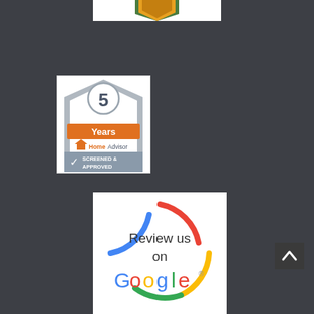[Figure (logo): Partial top image showing green and yellow/orange logo element at top center]
[Figure (logo): HomeAdvisor 5 Years Screened and Approved badge on white background]
[Figure (logo): Review us on Google circular badge with Google logo colors ring and text]
[Figure (other): Dark scroll-to-top button with upward chevron arrow on right side]